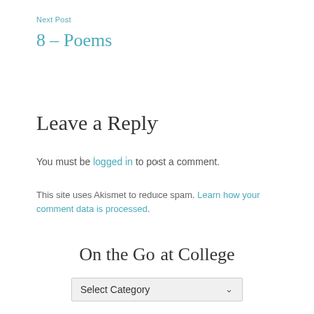Next Post
8 – Poems
Leave a Reply
You must be logged in to post a comment.
This site uses Akismet to reduce spam. Learn how your comment data is processed.
On the Go at College
Select Category